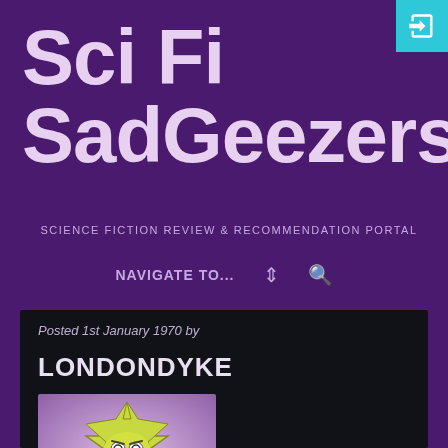Sci Fi SadGeezers
SCIENCE FICTION REVIEW & RECOMMENDATION PORTAL
NAVIGATE TO...
Posted 1st January 1970 by
LONDONDYKE
[Figure (illustration): Cartoon avatar of a yellow star-shaped character with a grumpy face, set against a pink-purple gradient background]